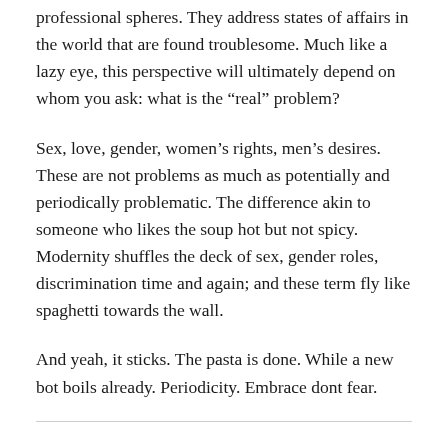professional spheres. They address states of affairs in the world that are found troublesome. Much like a lazy eye, this perspective will ultimately depend on whom you ask: what is the “real” problem?
Sex, love, gender, women’s rights, men’s desires. These are not problems as much as potentially and periodically problematic. The difference akin to someone who likes the soup hot but not spicy. Modernity shuffles the deck of sex, gender roles, discrimination time and again; and these term fly like spaghetti towards the wall.
And yeah, it sticks. The pasta is done. While a new bot boils already. Periodicity. Embrace dont fear.